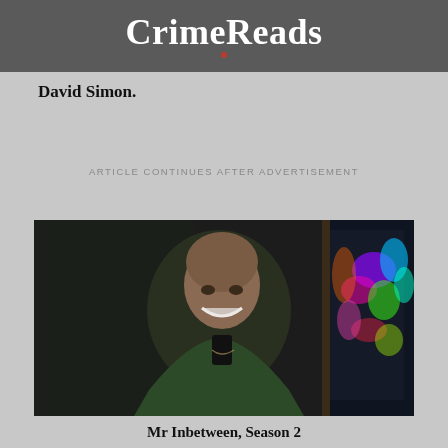CrimeReads
David Simon.
ARTICLE CONTINUES AFTER ADVERTISEMENT
[Figure (photo): A smiling bald man wearing a dark green jacket, standing in a dimly lit environment with colorful neon lights visible in the background on the right side.]
Mr Inbetween, Season 2